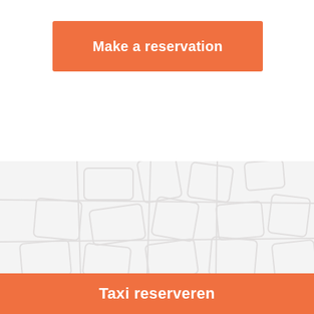Make a reservation
[Figure (map): Light gray street map background illustration showing road network]
Taxi reserveren